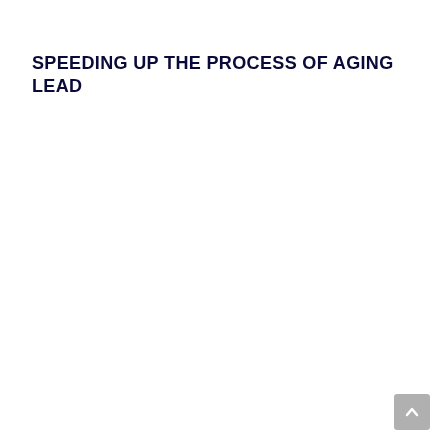SPEEDING UP THE PROCESS OF AGING LEAD